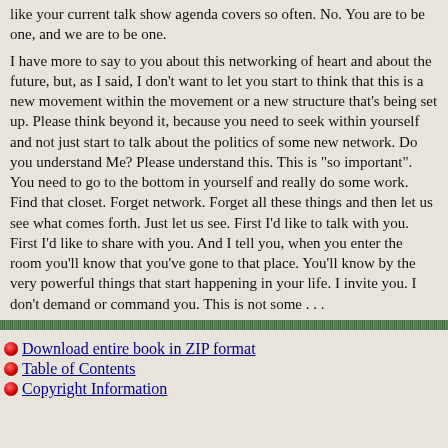like your current talk show agenda covers so often. No. You are to be one, and we are to be one.
I have more to say to you about this networking of heart and about the future, but, as I said, I don't want to let you start to think that this is a new movement within the movement or a new structure that's being set up. Please think beyond it, because you need to seek within yourself and not just start to talk about the politics of some new network. Do you understand Me? Please understand this. This is "so important". You need to go to the bottom in yourself and really do some work. Find that closet. Forget network. Forget all these things and then let us see what comes forth. Just let us see. First I'd like to talk with you. First I'd like to share with you. And I tell you, when you enter the room you'll know that you've gone to that place. You'll know by the very powerful things that start happening in your life. I invite you. I don't demand or command you. This is not some . . .
[Figure (other): Decorative horizontal green textured divider bar]
Download entire book in ZIP format
Table of Contents
Copyright Information